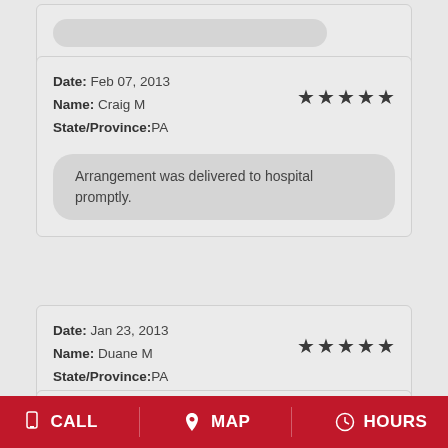Date: Feb 07, 2013
Name: Craig M
State/Province:PA
★★★★★
Arrangement was delivered to hospital promptly.
Date: Jan 23, 2013
Name: Duane M
State/Province:PA
★★★★★
Date: Dec 31, 2012
CALL  MAP  HOURS